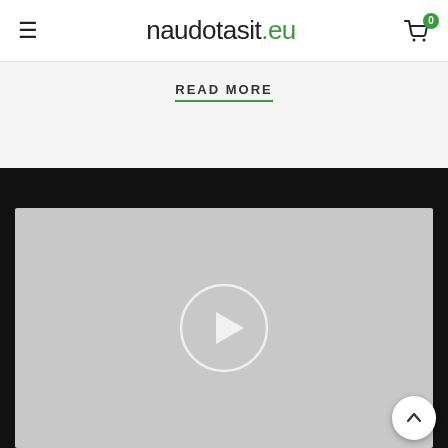naudotasit.eu
READ MORE
[Figure (screenshot): Dark section with a video thumbnail player showing a grey video preview area with a circular play button in the center, and a back-to-top button in the bottom right corner.]